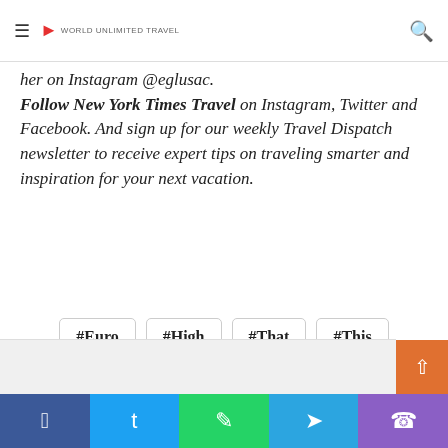Navigation bar with hamburger menu, logo, and search icon
her on Instagram @eglusac. Follow New York Times Travel on Instagram, Twitter and Facebook. And sign up for our weekly Travel Dispatch newsletter to receive expert tips on traveling smarter and inspiration for your next vacation.
#Euro
#High
#That
#This
#Travel
Social sharing bar: Facebook, Twitter, WhatsApp, Telegram, Phone